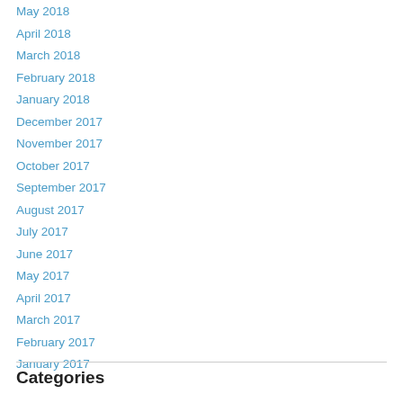May 2018
April 2018
March 2018
February 2018
January 2018
December 2017
November 2017
October 2017
September 2017
August 2017
July 2017
June 2017
May 2017
April 2017
March 2017
February 2017
January 2017
Categories